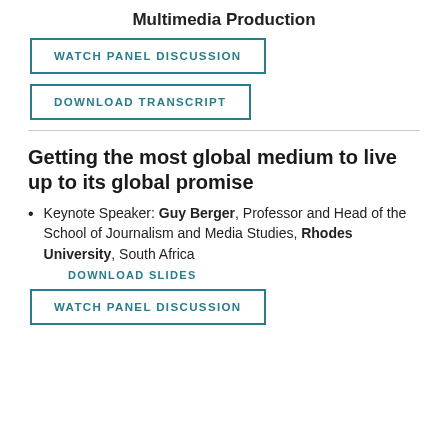Multimedia Production
WATCH PANEL DISCUSSION
DOWNLOAD TRANSCRIPT
Getting the most global medium to live up to its global promise
Keynote Speaker: Guy Berger, Professor and Head of the School of Journalism and Media Studies, Rhodes University, South Africa
DOWNLOAD SLIDES
WATCH PANEL DISCUSSION